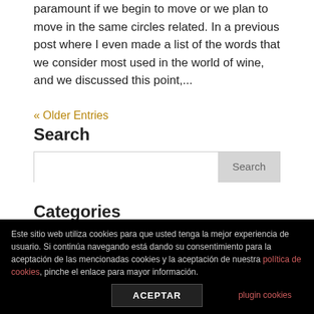paramount if we begin to move or we plan to move in the same circles related. In a previous post where I even made a list of the words that we consider most used in the world of wine, and we discussed this point,...
« Older Entries
Search
Categories
News
Noticias
Este sitio web utiliza cookies para que usted tenga la mejor experiencia de usuario. Si continúa navegando está dando su consentimiento para la aceptación de las mencionadas cookies y la aceptación de nuestra política de cookies, pinche el enlace para mayor información.
ACEPTAR
plugin cookies